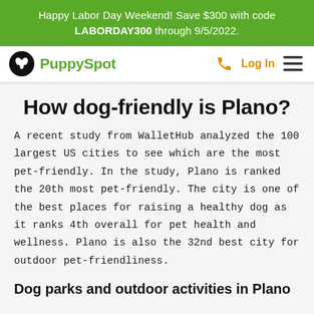Happy Labor Day Weekend! Save $300 with code LABORDAY300 through 9/5/2022.
[Figure (logo): PuppySpot logo with dog icon and green text, nav bar with phone icon, Log In link, and hamburger menu]
How dog-friendly is Plano?
A recent study from WalletHub analyzed the 100 largest US cities to see which are the most pet-friendly. In the study, Plano is ranked the 20th most pet-friendly. The city is one of the best places for raising a healthy dog as it ranks 4th overall for pet health and wellness. Plano is also the 32nd best city for outdoor pet-friendliness.
Dog parks and outdoor activities in Plano